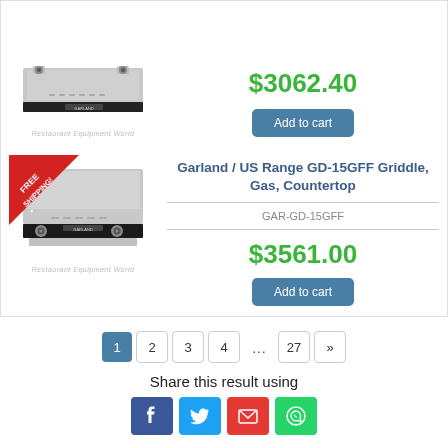[Figure (photo): Garland countertop gas griddle product photo (top, cut off), with Restaurant Equipment World watermark]
$3062.40
Add to cart
[Figure (photo): Garland / US Range GD-15GFF countertop gas griddle product photo with FREE SHIPPING! banner in red diagonal corner ribbon, Restaurant Equipment World watermark]
Garland / US Range GD-15GFF Griddle, Gas, Countertop
GAR-GD-15GFF
$3561.00
Add to cart
1 2 3 4 ... 27 »
Share this result using